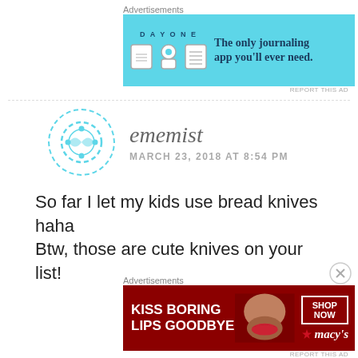Advertisements
[Figure (illustration): DayOne journaling app advertisement banner — light blue background with DayOne logo icons and text 'The only journaling app you'll ever need.']
REPORT THIS AD
ememist
MARCH 23, 2018 AT 8:54 PM
So far I let my kids use bread knives haha Btw, those are cute knives on your list!
Advertisements
[Figure (illustration): Macy's advertisement — dark red background with woman's lips photo, text 'KISS BORING LIPS GOODBYE', SHOP NOW button, and Macy's star logo]
REPORT THIS AD